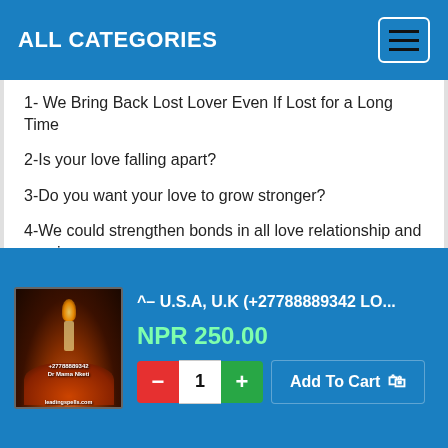ALL CATEGORIES
1- We Bring Back Lost Lover Even If Lost for a Long Time
2-Is your love falling apart?
3-Do you want your love to grow stronger?
4-We could strengthen bonds in all love relationship and marriages,
TRADITIONAL MEDICINE,+27788889342 POWERFUL PSYCHIC LOVE SPELLS, LOVE SPELLS THAT WORK, GAY LOVE SPELLS, MAKE HIM MARRY ME SPELL, SPELLS TO BRING BACK LOST LOVE EVEN IF LOST FOR LONG Y...
^– U.S.A, U.K (+27788889342 LO...
NPR 250.00
1
Add To Cart